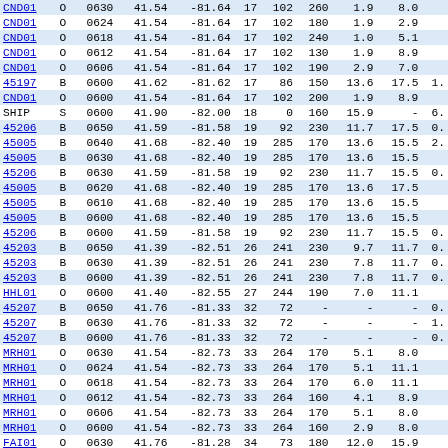| ID | T | Time | Lat | Lon | D1 | D2 | Dir | V1 | V2 | Extra |
| --- | --- | --- | --- | --- | --- | --- | --- | --- | --- | --- |
| CND01 | O | 0630 | 41.54 | -81.64 | 17 | 102 | 260 | 1.9 | 8.0 |  |
| CND01 | O | 0624 | 41.54 | -81.64 | 17 | 102 | 180 | 1.9 | 2.9 |  |
| CND01 | O | 0618 | 41.54 | -81.64 | 17 | 102 | 240 | 1.0 | 5.1 |  |
| CND01 | O | 0612 | 41.54 | -81.64 | 17 | 102 | 130 | 1.9 | 8.9 |  |
| CND01 | O | 0606 | 41.54 | -81.64 | 17 | 102 | 190 | 2.9 | 7.0 |  |
| 45197 | B | 0600 | 41.62 | -81.62 | 17 | 86 | 150 | 13.6 | 17.5 | 1. |
| CND01 | O | 0600 | 41.54 | -81.64 | 17 | 102 | 200 | 1.9 | 8.9 |  |
| SHIP | S | 0600 | 41.90 | -82.00 | 18 | 0 | 160 | 15.9 | - | 6. |
| 45206 | B | 0650 | 41.59 | -81.58 | 19 | 92 | 230 | 11.7 | 17.5 | 0. |
| 45005 | B | 0640 | 41.68 | -82.40 | 19 | 285 | 170 | 13.6 | 15.5 | 2. |
| 45005 | B | 0630 | 41.68 | -82.40 | 19 | 285 | 170 | 13.6 | 15.5 |  |
| 45206 | B | 0630 | 41.59 | -81.58 | 19 | 92 | 230 | 11.7 | 15.5 | 0. |
| 45005 | B | 0620 | 41.68 | -82.40 | 19 | 285 | 170 | 13.6 | 17.5 |  |
| 45005 | B | 0610 | 41.68 | -82.40 | 19 | 285 | 170 | 13.6 | 15.5 |  |
| 45005 | B | 0600 | 41.68 | -82.40 | 19 | 285 | 170 | 13.6 | 15.5 |  |
| 45206 | B | 0600 | 41.59 | -81.58 | 19 | 92 | 230 | 11.7 | 15.5 | 0. |
| 45203 | B | 0650 | 41.39 | -82.51 | 26 | 241 | 230 | 9.7 | 11.7 | 0. |
| 45203 | B | 0630 | 41.39 | -82.51 | 26 | 241 | 230 | 7.8 | 11.7 | 0. |
| 45203 | B | 0600 | 41.39 | -82.51 | 26 | 241 | 230 | 7.8 | 11.7 | 0. |
| HHL01 | O | 0600 | 41.40 | -82.55 | 27 | 244 | 190 | 7.0 | 11.1 |  |
| 45207 | B | 0650 | 41.76 | -81.33 | 32 | 72 | - | - | - | 0. |
| 45207 | B | 0630 | 41.76 | -81.33 | 32 | 72 | - | - | - | 1. |
| 45207 | B | 0600 | 41.76 | -81.33 | 32 | 72 | - | - | - | 0. |
| MRH01 | O | 0630 | 41.54 | -82.73 | 33 | 264 | 170 | 5.1 | 8.0 |  |
| MRH01 | O | 0624 | 41.54 | -82.73 | 33 | 264 | 170 | 5.1 | 11.1 |  |
| MRH01 | O | 0618 | 41.54 | -82.73 | 33 | 264 | 170 | 6.0 | 11.1 |  |
| MRH01 | O | 0612 | 41.54 | -82.73 | 33 | 264 | 160 | 4.1 | 8.9 |  |
| MRH01 | O | 0606 | 41.54 | -82.73 | 33 | 264 | 170 | 5.1 | 8.0 |  |
| MRH01 | O | 0600 | 41.54 | -82.73 | 33 | 264 | 160 | 2.9 | 8.0 |  |
| FAI01 | O | 0630 | 41.76 | -81.28 | 34 | 73 | 180 | 12.0 | 15.9 |  |
| FAI01 | O | 0624 | 41.76 | -81.28 | 34 | 73 | 170 | 14.0 | 17.1 |  |
| FAI01 | O | 0618 | 41.76 | -81.28 | 34 | 73 | 170 | 12.0 | 15.9 |  |
| FAI01 | O | 0612 | 41.76 | -81.28 | 34 | 73 | 170 | 12.0 | 15.9 |  |